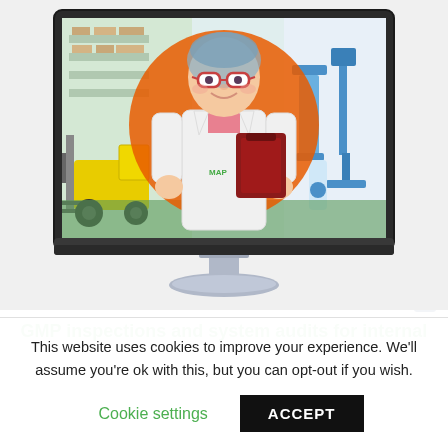[Figure (illustration): An animated illustration of a female GMP inspector/auditor wearing a lab coat, safety glasses, and hair net, holding a clipboard. She stands in front of an orange semi-circle. Behind her on the left is a warehouse with a yellow forklift, and on the right is pharmaceutical/lab equipment. The scene is displayed inside a silver iMac-style monitor.]
GMP inspections and system audits for internal
This website uses cookies to improve your experience. We'll assume you're ok with this, but you can opt-out if you wish.
Cookie settings   ACCEPT